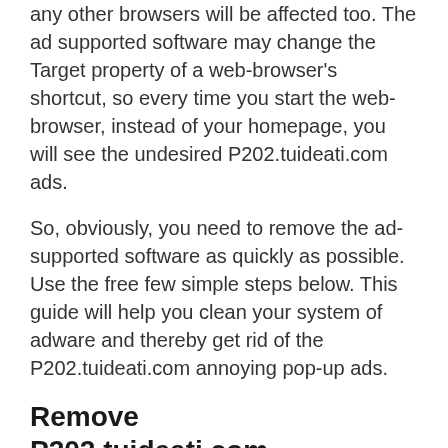any other browsers will be affected too. The ad supported software may change the Target property of a web-browser's shortcut, so every time you start the web-browser, instead of your homepage, you will see the undesired P202.tuideati.com ads.
So, obviously, you need to remove the ad-supported software as quickly as possible. Use the free few simple steps below. This guide will help you clean your system of adware and thereby get rid of the P202.tuideati.com annoying pop-up ads.
Remove P202.tuideati.com
Without a doubt, the adware is harmful to your computer. So you need to quickly and completely get rid of this ad-supported software that causes multiple annoying